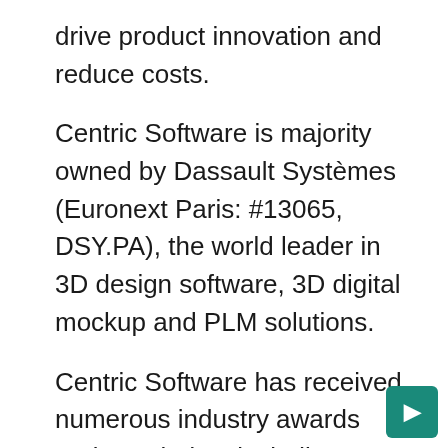drive product innovation and reduce costs.
Centric Software is majority owned by Dassault Systèmes (Euronext Paris: #13065, DSY.PA), the world leader in 3D design software, 3D digital mockup and PLM solutions.
Centric Software has received numerous industry awards and accolades, including being named by red herring to its Global Top 100 list in 2013, 2015, and 2016. Centric has also received various Frost & Sullivan Achievement Awards in 2012, 2016, 2018, and 2021.
Centric Software is a registered trademark of Centric Software Inc. All other brand and produ…